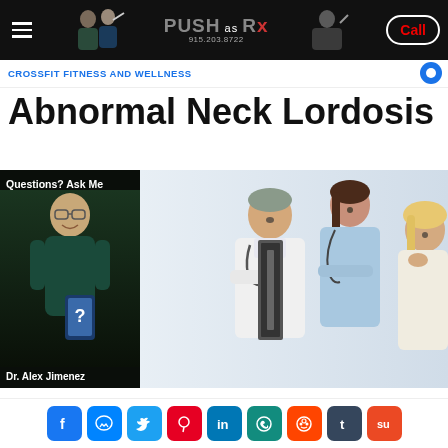PUSH as Rx — 915.203.8122 — Call
CROSSFIT FITNESS AND WELLNESS
Abnormal Neck Lordosis
[Figure (photo): Left panel: Dr. Alex Jimenez in dark scrubs holding a phone with question mark, text 'Questions? Ask Me' at top and 'Dr. Alex Jimenez' at bottom on dark background. Right panel: Two doctors (male in white coat, female in blue scrubs) reviewing an X-ray with a female patient touching her neck.]
Social sharing icons: Facebook, Messenger, Twitter, Pinterest, LinkedIn, WhatsApp, Reddit, Tumblr, StumbleUpon